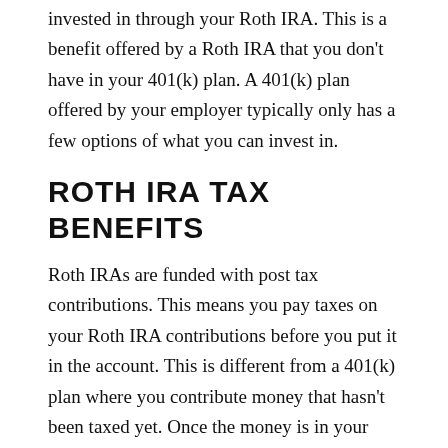invested in through your Roth IRA. This is a benefit offered by a Roth IRA that you don't have in your 401(k) plan. A 401(k) plan offered by your employer typically only has a few options of what you can invest in.
ROTH IRA TAX BENEFITS
Roth IRAs are funded with post tax contributions. This means you pay taxes on your Roth IRA contributions before you put it in the account. This is different from a 401(k) plan where you contribute money that hasn't been taxed yet. Once the money is in your Roth IRA account the earnings grow tax free.
BORROWING MONEY